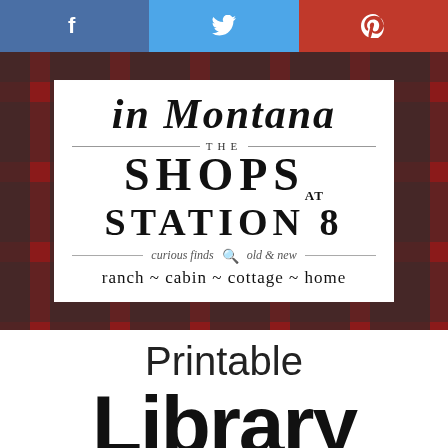[Figure (screenshot): Social sharing bar with Facebook (blue), Twitter (light blue), and Pinterest (red) icons]
[Figure (logo): The Shops at Station 8 logo on a red and black plaid background. Text reads: 'in Montana', 'THE SHOPS AT STATION 8', 'curious finds [magnifying glass icon] old & new', 'ranch ~ cabin ~ cottage ~ home']
Printable Library